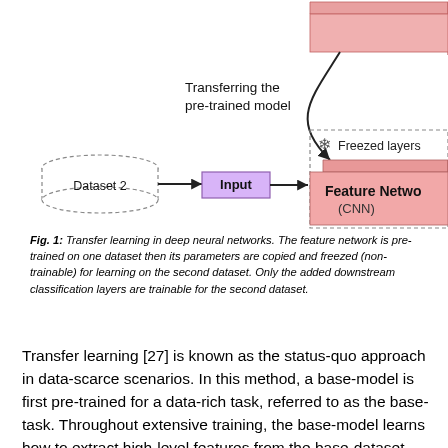[Figure (flowchart): Transfer learning diagram showing Dataset 2 feeding into an Input block, then into a Feature Network (CNN) with freezed layers indicated by a snowflake icon and dashed border. A curved arrow from a pre-trained model at top right transfers to the CNN. Text label 'Transferring the pre-trained model' is shown with the arrow.]
Fig. 1: Transfer learning in deep neural networks. The feature network is pre-trained on one dataset then its parameters are copied and freezed (non-trainable) for learning on the second dataset. Only the added downstream classification layers are trainable for the second dataset.
Transfer learning [27] is known as the status-quo approach in data-scarce scenarios. In this method, a base-model is first pre-trained for a data-rich task, referred to as the base-task. Throughout extensive training, the base-model learns how to extract high-level features from the base-dataset.